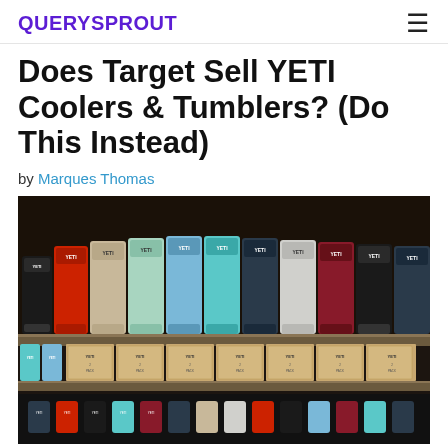QUERYSPROUT
Does Target Sell YETI Coolers & Tumblers? (Do This Instead)
by Marques Thomas
[Figure (photo): Shelves stocked with colorful YETI tumblers and boxed YETI products in various colors including red, teal, blue, white, black, and dark red]